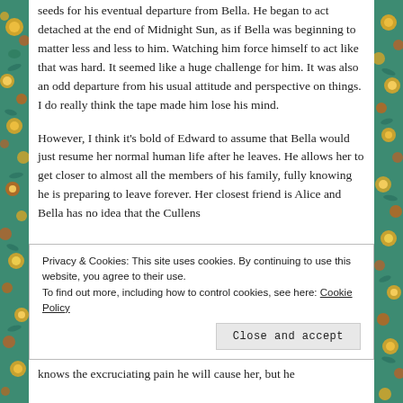seeds for his eventual departure from Bella. He began to act detached at the end of Midnight Sun, as if Bella was beginning to matter less and less to him. Watching him force himself to act like that was hard. It seemed like a huge challenge for him. It was also an odd departure from his usual attitude and perspective on things. I do really think the tape made him lose his mind.
However, I think it's bold of Edward to assume that Bella would just resume her normal human life after he leaves. He allows her to get closer to almost all the members of his family, fully knowing he is preparing to leave forever. Her closest friend is Alice and Bella has no idea that the Cullens
Privacy & Cookies: This site uses cookies. By continuing to use this website, you agree to their use.
To find out more, including how to control cookies, see here: Cookie Policy
knows the excruciating pain he will cause her, but he